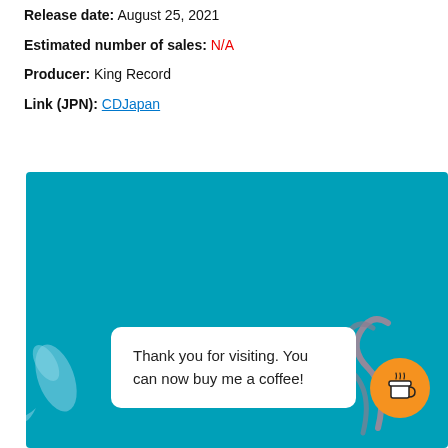Release date: August 25, 2021
Estimated number of sales: N/A
Producer: King Record
Link (JPN): CDJapan
[Figure (illustration): Teal/cyan background image with a white speech bubble containing the text 'Thank you for visiting. You can now buy me a coffee!' and an orange circular coffee cup button on the right side. There are decorative fish/dolphin and swirl elements on the sides.]